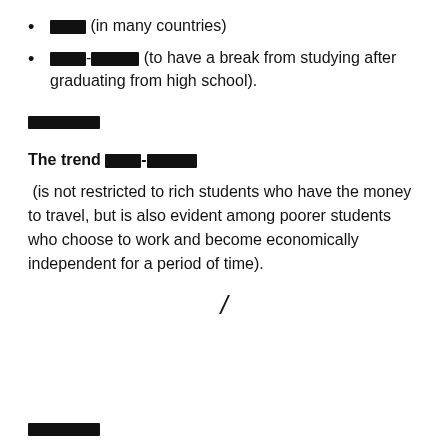□□□ (in many countries)
□□□-□□□□ (to have a break from studying after graduating from high school).
□□□□□
The trend □□□-□□□□
(is not restricted to rich students who have the money to travel, but is also evident among poorer students who choose to work and become economically independent for a period of time).
/
□□□□□